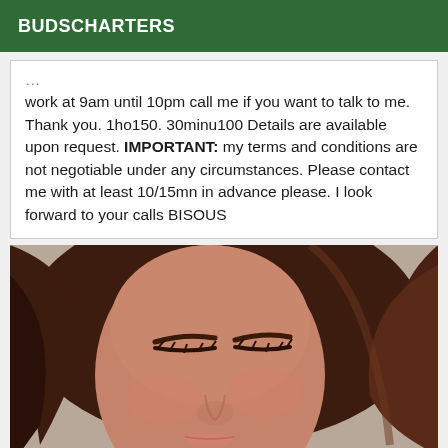BUDSCHARTERS
work at 9am until 10pm call me if you want to talk to me. Thank you. 1ho150. 30minu100 Details are available upon request. IMPORTANT: my terms and conditions are not negotiable under any circumstances. Please contact me with at least 10/15mn in advance please. I look forward to your calls BISOUS
[Figure (photo): Close-up photo of a young woman with dark brown hair spread out, eyes closed, wearing natural makeup, face tilted slightly.]